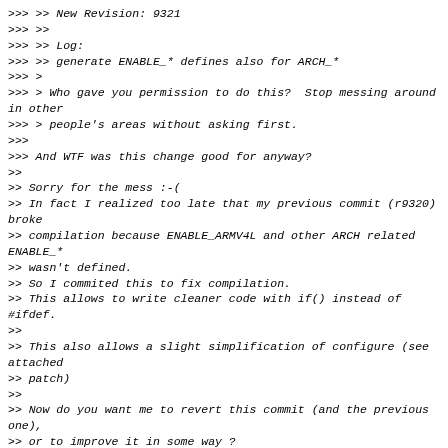>>> >> New Revision: 9321
>>> >>
>>> >> Log:
>>> >> generate ENABLE_* defines also for ARCH_*
>>> >
>>> > Who gave you permission to do this?  Stop messing around in other
>>> > people's areas without asking first.
>>>
>>> And WTF was this change good for anyway?
>>
>> Sorry for the mess :-(
>> In fact I realized too late that my previous commit (r9320) broke
>> compilation because ENABLE_ARMV4L and other ARCH related ENABLE_*
>> wasn't defined.
>> So I commited this to fix compilation.
>> This allows to write cleaner code with if() instead of #ifdef.
>>
>> This also allows a slight simplification of configure (see attached
>> patch)
>>
>> Now do you want me to revert this commit (and the previous one),
>> or to improve it in some way ?
>
> Just leave it.  I'll tidy it up.